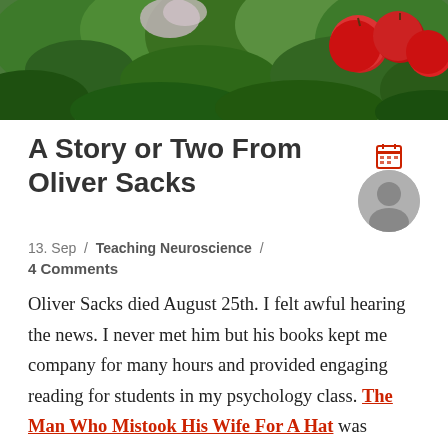[Figure (photo): Header photo showing green leafy plants and red apples in an outdoor garden setting]
A Story or Two From Oliver Sacks
13. Sep / Teaching Neuroscience / 4 Comments
Oliver Sacks died August 25th. I felt awful hearing the news. I never met him but his books kept me company for many hours and provided engaging reading for students in my psychology class. The Man Who Mistook His Wife For A Hat was probably my favorite. The book tells stories of people with different and unusual brain conditions and so provided a very human side to the